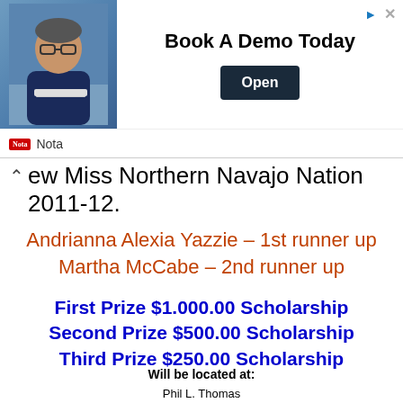[Figure (other): Advertisement banner for 'Nota' app showing a man with glasses at a desk, with text 'Book A Demo Today' and an 'Open' button]
ew Miss Northern Navajo Nation 2011-12.
Andrianna Alexia Yazzie – 1st runner up
Martha McCabe – 2nd runner up
First Prize $1.000.00 Scholarship
Second Prize $500.00 Scholarship
Third Prize $250.00 Scholarship
Will be located at:
Phil L. Thomas
Performing Arts Center
Shiprock, NM 87420-3578
(505) 368-2490
On US 64 near Shiprock High School